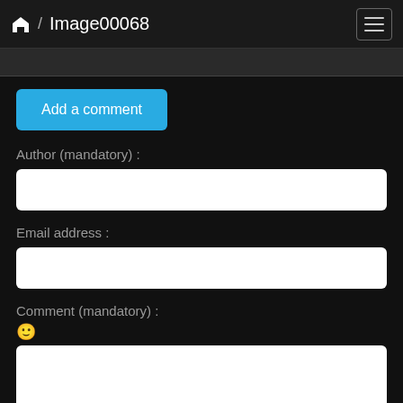🏠 / Image00068
[Figure (screenshot): Dark navigation bar at top showing home icon, slash separator, and Image00068 title with hamburger menu button on right]
Add a comment
Author (mandatory) :
Email address :
Comment (mandatory) :